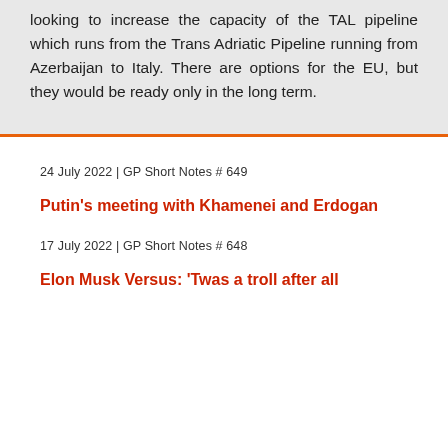looking to increase the capacity of the TAL pipeline which runs from the Trans Adriatic Pipeline running from Azerbaijan to Italy. There are options for the EU, but they would be ready only in the long term.
24 July 2022 | GP Short Notes # 649
Putin's meeting with Khamenei and Erdogan
17 July 2022 | GP Short Notes # 648
Elon Musk Versus: 'Twas a troll after all